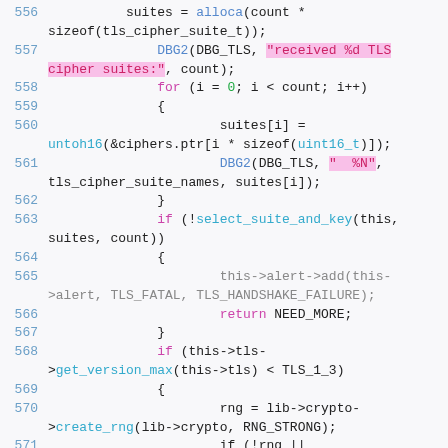[Figure (screenshot): Source code screenshot showing C code lines 556-572 with syntax highlighting. Background is light gray. Line numbers in blue, keywords in pink/magenta, strings highlighted in pink background, function names in blue/cyan, numeric literals in green.]